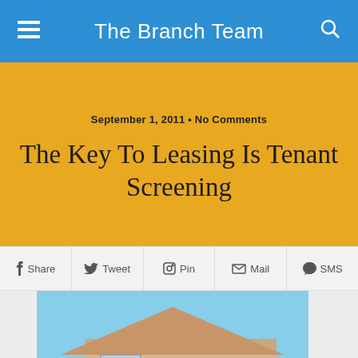The Branch Team
September 1, 2011 • No Comments
The Key To Leasing Is Tenant Screening
Share  Tweet  Pin  Mail  SMS
[Figure (photo): A red and white FOR RENT sign in front of a suburban house with green lawn and blue sky]